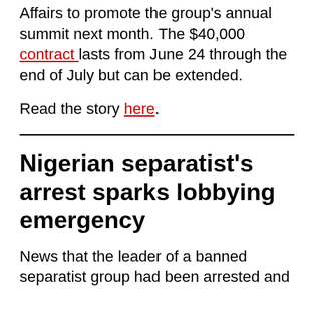Affairs to promote the group's annual summit next month. The $40,000 contract lasts from June 24 through the end of July but can be extended.
Read the story here.
Nigerian separatist's arrest sparks lobbying emergency
News that the leader of a banned separatist group had been arrested and